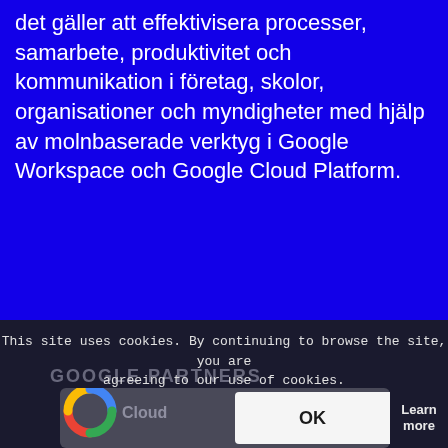det gäller att effektivisera processer, samarbete, produktivitet och kommunikation i företag, skolor, organisationer och myndigheter med hjälp av molnbaserade verktyg i Google Workspace och Google Cloud Platform.
This site uses cookies. By continuing to browse the site, you are agreeing to our use of cookies.
[Figure (screenshot): Cookie consent modal overlay with OK button and Learn more button, overlaying a dark footer section with Google Partners text and Google Cloud logo]